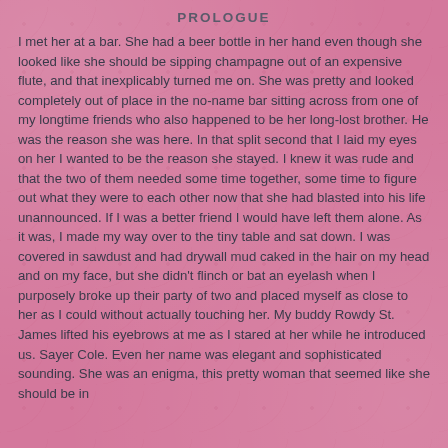PROLOGUE
I met her at a bar. She had a beer bottle in her hand even though she looked like she should be sipping champagne out of an expensive flute, and that inexplicably turned me on. She was pretty and looked completely out of place in the no-name bar sitting across from one of my longtime friends who also happened to be her long-lost brother. He was the reason she was here. In that split second that I laid my eyes on her I wanted to be the reason she stayed. I knew it was rude and that the two of them needed some time together, some time to figure out what they were to each other now that she had blasted into his life unannounced. If I was a better friend I would have left them alone. As it was, I made my way over to the tiny table and sat down. I was covered in sawdust and had drywall mud caked in the hair on my head and on my face, but she didn't flinch or bat an eyelash when I purposely broke up their party of two and placed myself as close to her as I could without actually touching her. My buddy Rowdy St. James lifted his eyebrows at me as I stared at her while he introduced us. Sayer Cole. Even her name was elegant and sophisticated sounding. She was an enigma, this pretty woman that seemed like she should be in